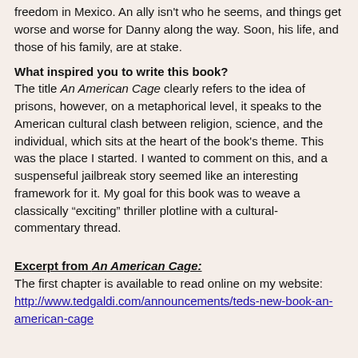freedom in Mexico. An ally isn't who he seems, and things get worse and worse for Danny along the way. Soon, his life, and those of his family, are at stake.
What inspired you to write this book?
The title An American Cage clearly refers to the idea of prisons, however, on a metaphorical level, it speaks to the American cultural clash between religion, science, and the individual, which sits at the heart of the book's theme. This was the place I started. I wanted to comment on this, and a suspenseful jailbreak story seemed like an interesting framework for it. My goal for this book was to weave a classically “exciting” thriller plotline with a cultural-commentary thread.
Excerpt from An American Cage:
The first chapter is available to read online on my website: http://www.tedgaldi.com/announcements/teds-new-book-an-american-cage